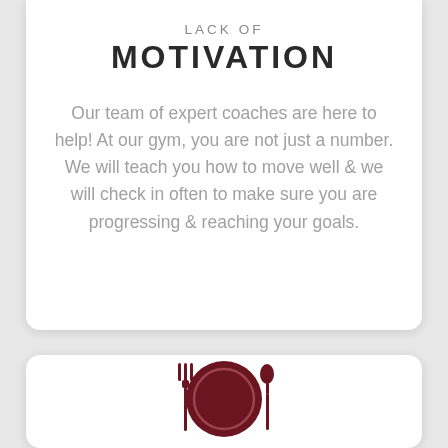LACK OF MOTIVATION
Our team of expert coaches are here to help! At our gym, you are not just a number. We will teach you how to move well & we will check in often to make sure you are progressing & reaching your goals.
[Figure (illustration): A dark red/maroon icon of a dinner plate with a fork on the left and a spoon on the right, representing food/nutrition]